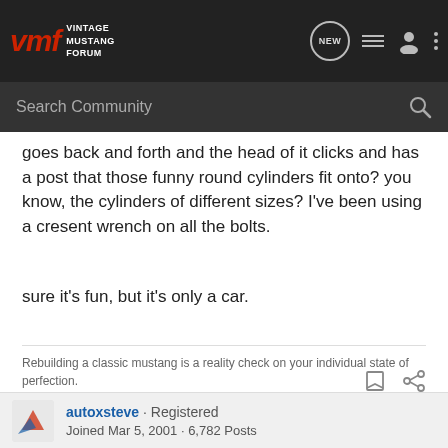VMF VINTAGE MUSTANG FORUM
goes back and forth and the head of it clicks and has a post that those funny round cylinders fit onto? you know, the cylinders of different sizes? I've been using a cresent wrench on all the bolts.
sure it's fun, but it's only a car.
Rebuilding a classic mustang is a reality check on your individual state of perfection.
autoxsteve · Registered
Joined Mar 5, 2001 · 6,782 Posts